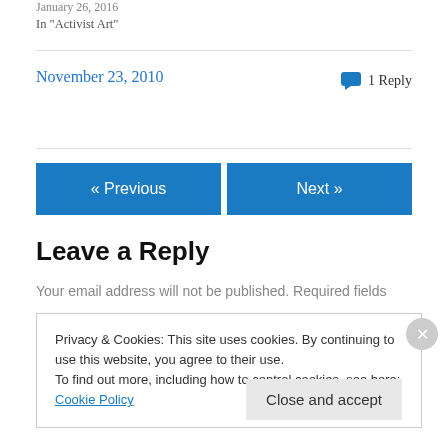January 26, 2016
In "Activist Art"
November 23, 2010
1 Reply
« Previous
Next »
Leave a Reply
Your email address will not be published. Required fields
Privacy & Cookies: This site uses cookies. By continuing to use this website, you agree to their use.
To find out more, including how to control cookies, see here: Cookie Policy
Close and accept